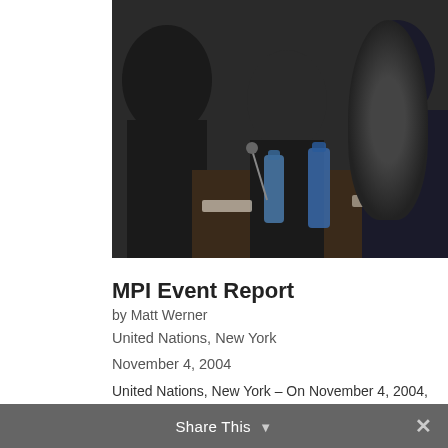[Figure (photo): Group photo of people seated at a conference table with water bottles and microphones, taken at the United Nations forum.]
MPI Event Report
by Matt Werner
United Nations, New York
November 4, 2004
United Nations, New York – On November 4, 2004, the Middle Powers Initiative (MPI) hosted a forum at the United Nations entitled, “New Implications for the NPT 2005 Review.” The distinguished panel included the Right Honourable Kim Campbell, Former Prime Minister of Canada; Ambassador Robert Grey, Jr., Former U.S. Representative to the Conference on
Share This